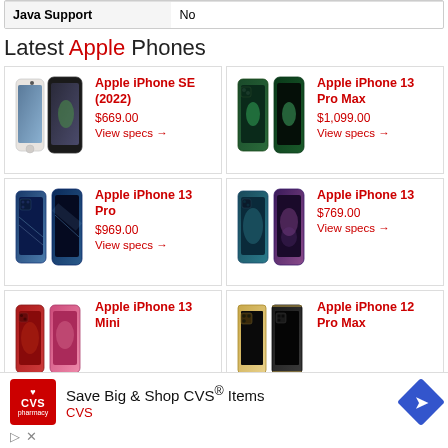| Java Support | No |
| --- | --- |
Latest Apple Phones
[Figure (photo): Apple iPhone SE (2022) product image]
Apple iPhone SE (2022)
$669.00
View specs →
[Figure (photo): Apple iPhone 13 Pro Max product image]
Apple iPhone 13 Pro Max
$1,099.00
View specs →
[Figure (photo): Apple iPhone 13 Pro product image]
Apple iPhone 13 Pro
$969.00
View specs →
[Figure (photo): Apple iPhone 13 product image]
Apple iPhone 13
$769.00
View specs →
[Figure (photo): Apple iPhone 13 Mini product image]
Apple iPhone 13 Mini
[Figure (photo): Apple iPhone 12 Pro Max product image]
Apple iPhone 12 Pro Max
Save Big & Shop CVS® Items
CVS